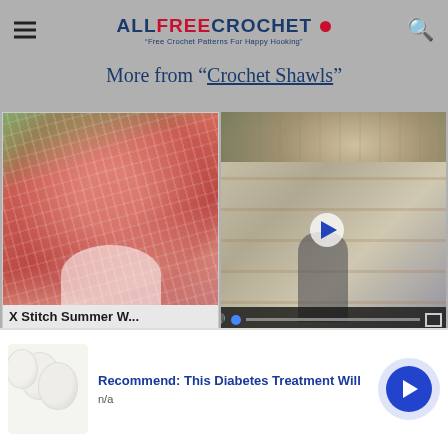ALLFREECROCHET • Free Crochet Patterns For Happy Hooking
More from "Crochet Shawls"
[Figure (photo): Pink crochet shawl on a mannequin outdoors]
X Stitch Summer W...
[Figure (screenshot): Video player showing a woman in a craft studio with bookshelves, with play button overlay and video controls]
[Figure (photo): Advertisement banner with boiled eggs image and text: Recommend: This Diabetes Treatment Will, n/a, with blue arrow button]